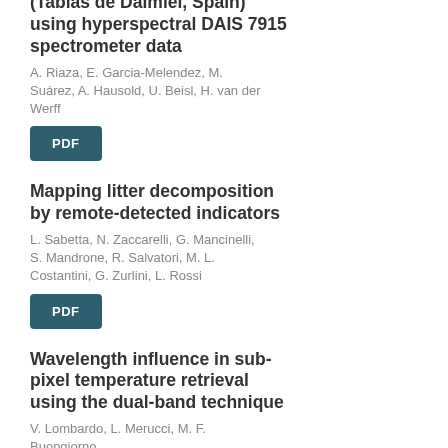(Tablas de Daimiel, Spain) using hyperspectral DAIS 7915 spectrometer data
A. Riaza, E. Garcia-Melendez, M. Suárez, A. Hausold, U. Beisl, H. van der Werff
[Figure (other): PDF button]
Mapping litter decomposition by remote-detected indicators
L. Sabetta, N. Zaccarelli, G. Mancinelli, S. Mandrone, R. Salvatori, M. L. Costantini, G. Zurlini, L. Rossi
[Figure (other): PDF button]
Wavelength influence in sub-pixel temperature retrieval using the dual-band technique
V. Lombardo, L. Merucci, M. F. Buongiorno
[Figure (other): PDF button]